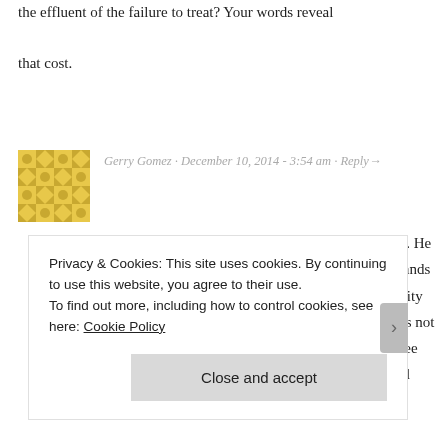the effluent of the failure to treat? Your words reveal that cost.
Gerry Gomez · December 10, 2014 - 3:54 am · Reply→
Thanks, Dan. My father's childhood was no picnic. He grew up in the worst poverty and suffered at the hands of his own brutal father. He did not have the capacity to see beyond that and do things differently. That is not to excuse his behavior. I am just now learning to see that and see him with a little bit of compassion and
Privacy & Cookies: This site uses cookies. By continuing to use this website, you agree to their use. To find out more, including how to control cookies, see here: Cookie Policy
Close and accept